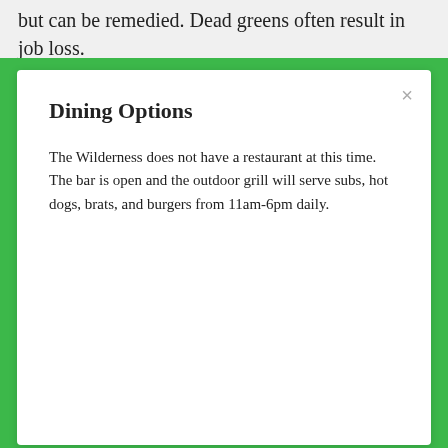but can be remedied. Dead greens often result in job loss.
Dining Options
The Wilderness does not have a restaurant at this time. The bar is open and the outdoor grill will serve subs, hot dogs, brats, and burgers from 11am-6pm daily.